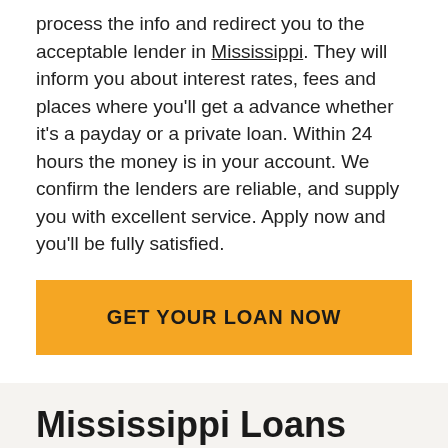process the info and redirect you to the acceptable lender in Mississippi. They will inform you about interest rates, fees and places where you'll get a advance whether it's a payday or a private loan. Within 24 hours the money is in your account. We confirm the lenders are reliable, and supply you with excellent service. Apply now and you'll be fully satisfied.
[Figure (other): Orange button with text GET YOUR LOAN NOW]
Mississippi Loans FAQ
Can I still apply for a MS payday loan with bad credit?
Yes, all credit types are welcome to apply.